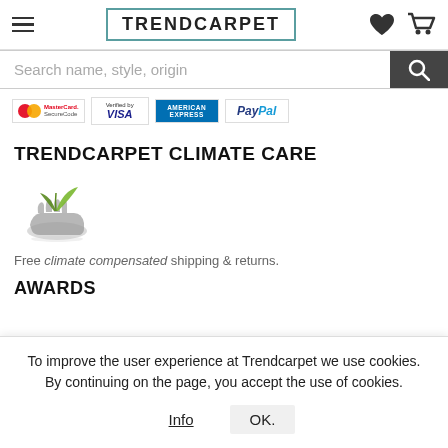TRENDCARPET
Search name, style, origin
[Figure (logo): Payment method logos: MasterCard SecureCode, Verified by VISA, American Express, PayPal]
TRENDCARPET CLIMATE CARE
[Figure (illustration): Eco icon: green plant leaves resting on an open grey hand]
Free climate compensated shipping & returns.
AWARDS
To improve the user experience at Trendcarpet we use cookies. By continuing on the page, you accept the use of cookies.
Info
OK.